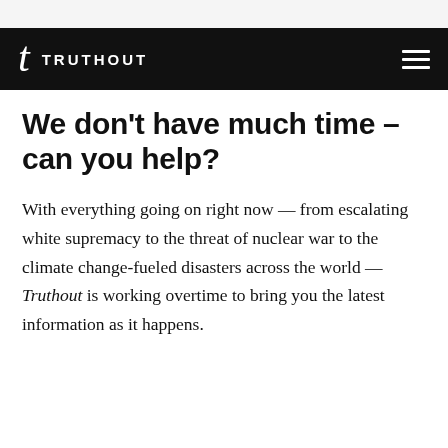TRUTHOUT
We don't have much time – can you help?
With everything going on right now — from escalating white supremacy to the threat of nuclear war to the climate change-fueled disasters across the world — Truthout is working overtime to bring you the latest information as it happens.